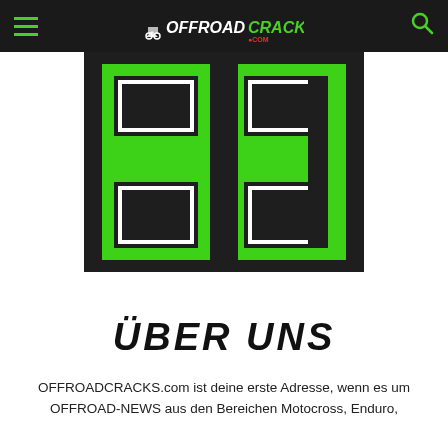OFFROAD CRACKS navigation bar with logo
[Figure (logo): Offroad Cracks logo: dark background with two large stylized letters in bright green with black and white outline]
ÜBER UNS
OFFROADCRACKS.com ist deine erste Adresse, wenn es um OFFROAD-NEWS aus den Bereichen Motocross, Enduro,